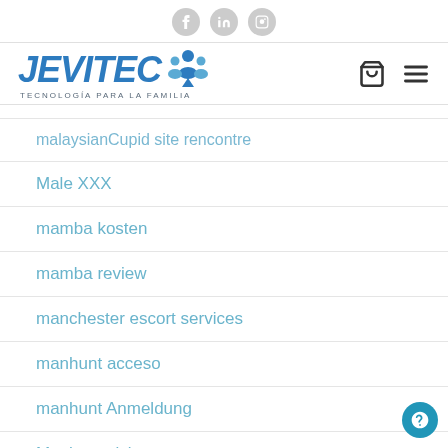JEVITEC — TECNOLOGÍA PARA LA FAMILIA — website header with social icons and navigation
malaysianCupid site rencontre
Male XXX
mamba kosten
mamba review
manchester escort services
manhunt acceso
manhunt Anmeldung
Manhunt visitors
marcus personal loan